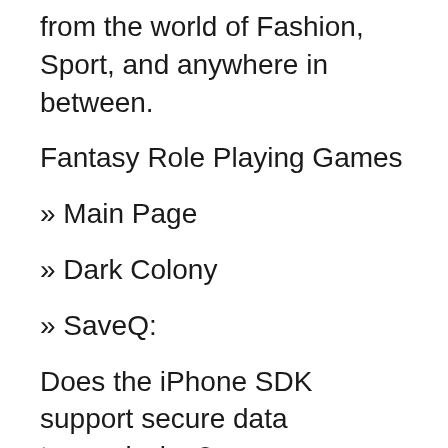from the world of Fashion, Sport, and anywhere in between.
Fantasy Role Playing Games
» Main Page
» Dark Colony
» SaveQ:
Does the iPhone SDK support secure data transmission?
One of the biggest things that I want from my app is secure data transmission, and to make sure that only my app can access the data and so on the...